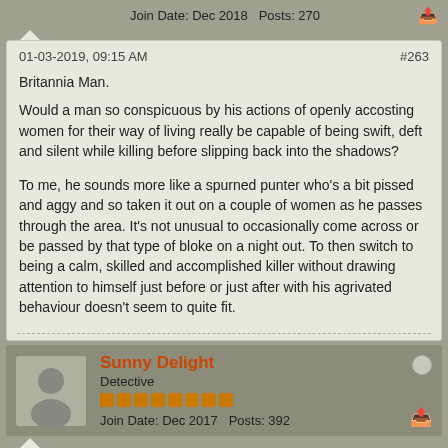Join Date: Dec 2018   Posts: 270
01-03-2019, 09:15 AM
#263
Britannia Man.
Would a man so conspicuous by his actions of openly accosting women for their way of living really be capable of being swift, deft and silent while killing before slipping back into the shadows?
To me, he sounds more like a spurned punter who's a bit pissed and aggy and so taken it out on a couple of women as he passes through the area. It's not unusual to occasionally come across or be passed by that type of bloke on a night out. To then switch to being a calm, skilled and accomplished killer without drawing attention to himself just before or just after with his agrivated behaviour doesn't seem to quite fit.
Sunny Delight
Detective
Join Date: Dec 2017   Posts: 392
01-03-2019, 09:28 AM
#264